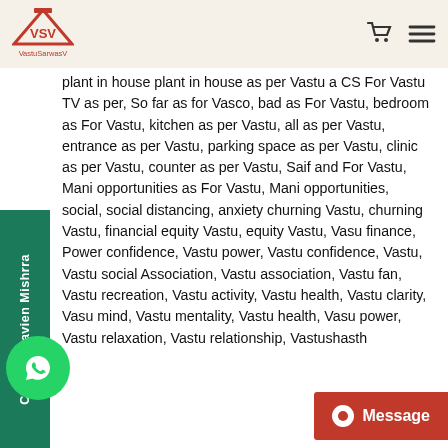VastuSarwasV
plant in house plant in house as per Vastu a CS For Vastu TV as per, So far as for Vasco, bad as For Vastu, bedroom as For Vastu, kitchen as per Vastu, all as per Vastu, entrance as per Vastu, parking space as per Vastu, clinic as per Vastu, counter as per Vastu, Saif and For Vastu, Mani opportunities as For Vastu, Mani opportunities, social, social distancing, anxiety churning Vastu, churning Vastu, financial equity Vastu, equity Vastu, Vasu finance, Power confidence, Vastu power, Vastu confidence, Vastu, Vastu social Association, Vastu association, Vastu fan, Vastu recreation, Vastu activity, Vastu health, Vastu clarity, Vasu mind, Vastu mentality, Vastu health, Vasu power, Vastu relaxation, Vastu relationship, Vastushasth